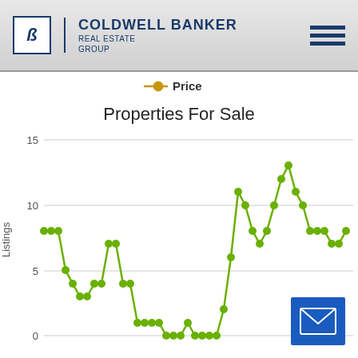[Figure (logo): Coldwell Banker Real Estate Group logo with CB monogram icon]
[Figure (line-chart): Properties For Sale]